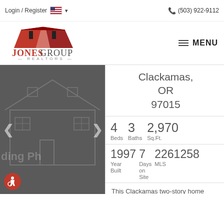Login / Register  (503) 922-9112
[Figure (logo): Jones Group Realtors logo with red house roof icon]
MENU
[Figure (photo): Dark grey placeholder showing house outline with Loading Photo text and navigation arrows]
Clackamas, OR 97015
4 Beds  3 Baths  2,970 Sq.Ft.
1997 Year Built  7 Days on Site  22612558 MLS
This Clackamas two-story home offers quartz countertops, and a